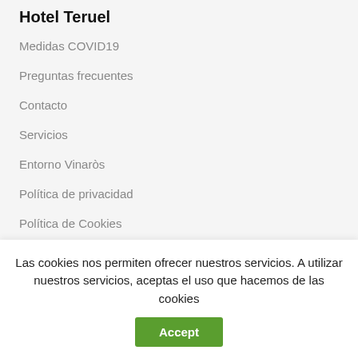Hotel Teruel
Medidas COVID19
Preguntas frecuentes
Contacto
Servicios
Entorno Vinaròs
Política de privacidad
Política de Cookies
Contacto
Las cookies nos permiten ofrecer nuestros servicios. A utilizar nuestros servicios, aceptas el uso que hacemos de las cookies
Accept